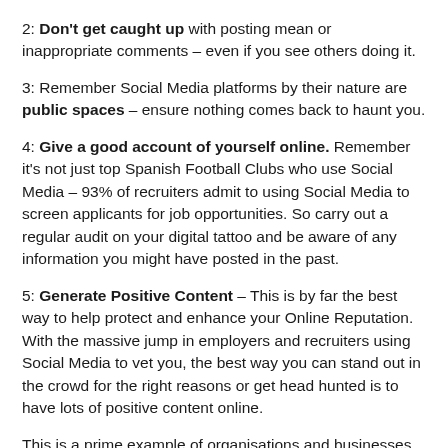2: Don't get caught up with posting mean or inappropriate comments – even if you see others doing it.
3: Remember Social Media platforms by their nature are public spaces – ensure nothing comes back to haunt you.
4: Give a good account of yourself online. Remember it's not just top Spanish Football Clubs who use Social Media – 93% of recruiters admit to using Social Media to screen applicants for job opportunities. So carry out a regular audit on your digital tattoo and be aware of any information you might have posted in the past.
5: Generate Positive Content – This is by far the best way to help protect and enhance your Online Reputation. With the massive jump in employers and recruiters using Social Media to vet you, the best way you can stand out in the crowd for the right reasons or get head hunted is to have lots of positive content online.
This is a prime example of organisations and businesses, and Barcelona Club is no exception, protecting their own Reputation